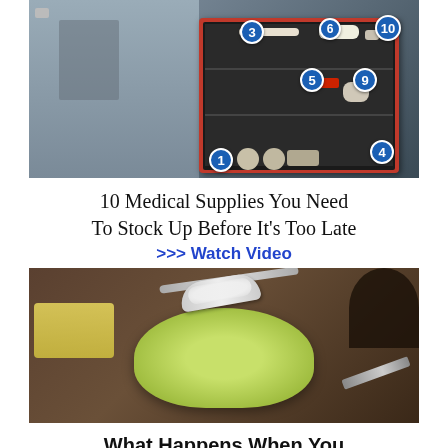[Figure (photo): A red first aid / medical supply kit box open, showing numbered items inside (numbers 1, 3, 4, 5, 9, 10 visible as blue circle badges) against a dark background]
10 Medical Supplies You Need To Stock Up Before It’s Too Late
>>> Watch Video
[Figure (photo): A spoon full of white powder (salt or baking soda) held over a cabbage leaf on a rustic wooden surface with other food items in background]
What Happens When You